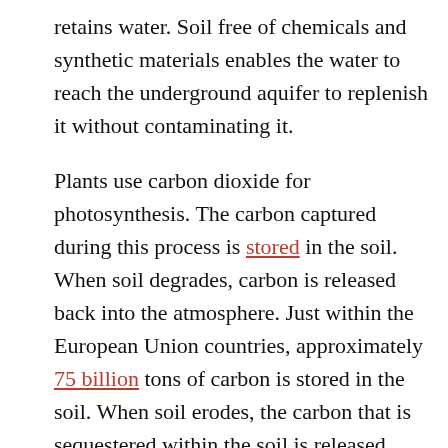retains water. Soil free of chemicals and synthetic materials enables the water to reach the underground aquifer to replenish it without contaminating it.
Plants use carbon dioxide for photosynthesis. The carbon captured during this process is stored in the soil. When soil degrades, carbon is released back into the atmosphere. Just within the European Union countries, approximately 75 billion tons of carbon is stored in the soil. When soil erodes, the carbon that is sequestered within the soil is released back into the atmosphere.
But our soil is dying…
The impact of industrial